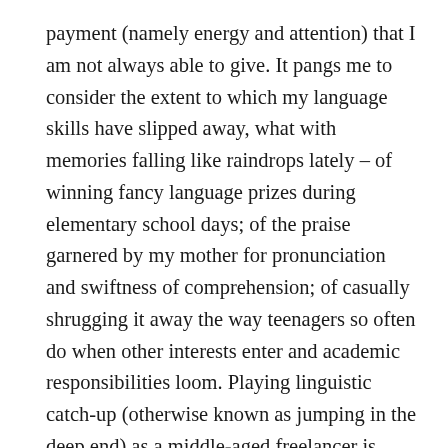payment (namely energy and attention) that I am not always able to give. It pangs me to consider the extent to which my language skills have slipped away, what with memories falling like raindrops lately – of winning fancy language prizes during elementary school days; of the praise garnered by my mother for pronunciation and swiftness of comprehension; of casually shrugging it away the way teenagers so often do when other interests enter and academic responsibilities loom. Playing linguistic catch-up (otherwise known as jumping in the deep end) as a middle-aged freelancer is daunting, exhausting, often disheartening, but passion for culture renders it necessary, and if I am being honest, uniquely rewarding.